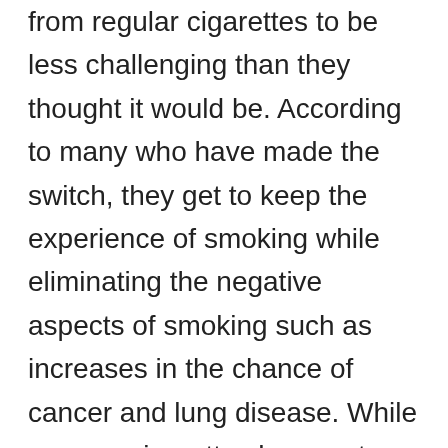from regular cigarettes to be less challenging than they thought it would be. According to many who have made the switch, they get to keep the experience of smoking while eliminating the negative aspects of smoking such as increases in the chance of cancer and lung disease. While vapor e cigarettes have not been proven to be absolutely safe for use, they do not have many of the dangers that traditional cigarettes pose such as cancer and emphysema.
Whether you wish to find a solution for gradually quitting cigarettes or simply want to replace your current habit, vapor e cigarettes